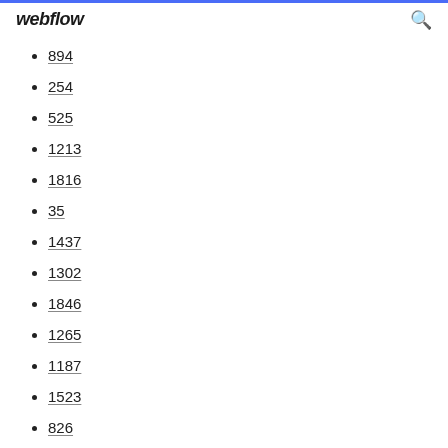webflow
894
254
525
1213
1816
35
1437
1302
1846
1265
1187
1523
826